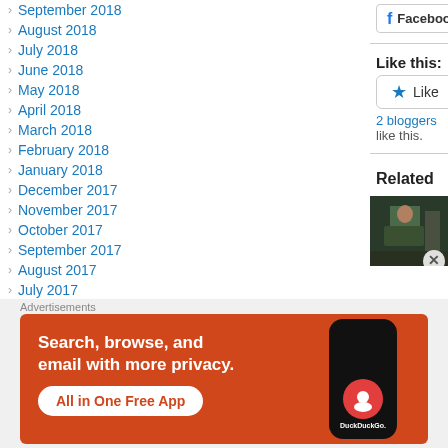September 2018
August 2018
July 2018
June 2018
May 2018
April 2018
March 2018
February 2018
January 2018
December 2017
November 2017
October 2017
September 2017
August 2017
July 2017
June 2017
Facebook  T
Like this:
2 bloggers like this.
Related
[Figure (photo): Video thumbnail showing a person at a podium or lectern]
Advertisements
[Figure (infographic): DuckDuckGo advertisement banner: Search, browse, and email with more privacy. All in One Free App]